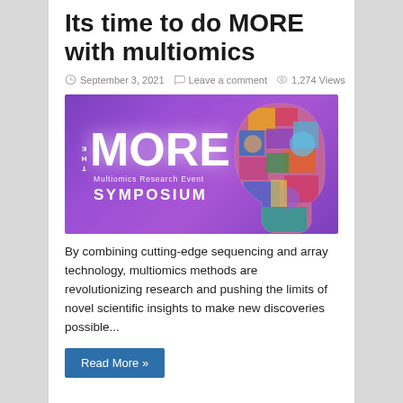Its time to do MORE with multiomics
September 3, 2021   Leave a comment   1,274 Views
[Figure (illustration): The MORE Multiomics Research Event Symposium banner with purple background and colorful head silhouette made of various biological/scientific imagery]
By combining cutting-edge sequencing and array technology, multiomics methods are revolutionizing research and pushing the limits of novel scientific insights to make new discoveries possible...
Read More »
International Conference on